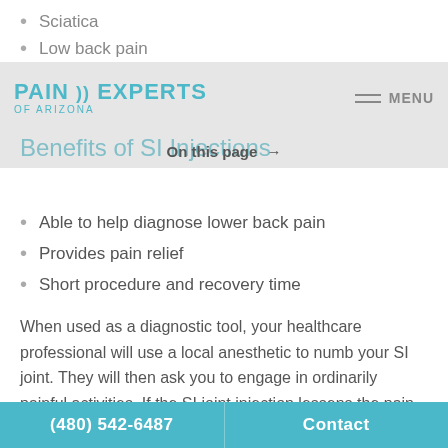Sciatica
Low back pain
[Figure (logo): Pain Experts Arizona logo with navigation menu bar]
Benefits of SI Injections
On this page →
Able to help diagnose lower back pain
Provides pain relief
Short procedure and recovery time
When used as a diagnostic tool, your healthcare professional will use a local anesthetic to numb your SI joint. They will then ask you to engage in ordinarily painful activities. If the SI joint injection lessens the pain during these activities, your healthcare professional will perform a second
(480) 542-6487   Contact